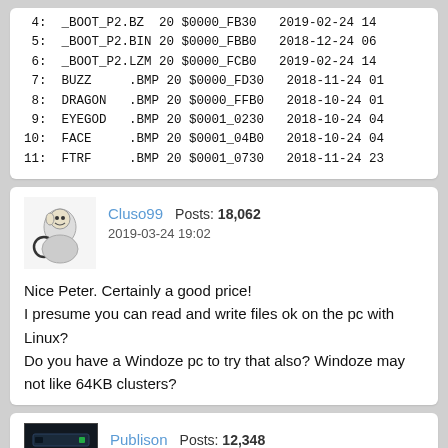| # | Name | Ext | Num | Addr | Date | X |
| --- | --- | --- | --- | --- | --- | --- |
| 4: | _BOOT_P2 | .BZ | 20 | $0000_FB30 | 2019-02-24 | 14 |
| 5: | _BOOT_P2 | .BIN | 20 | $0000_FBB0 | 2018-12-24 | 06 |
| 6: | _BOOT_P2 | .LZM | 20 | $0000_FCB0 | 2019-02-24 | 14 |
| 7: | BUZZ | .BMP | 20 | $0000_FD30 | 2018-11-24 | 01 |
| 8: | DRAGON | .BMP | 20 | $0000_FFB0 | 2018-10-24 | 01 |
| 9: | EYEGOD | .BMP | 20 | $0001_0230 | 2018-10-24 | 04 |
| 10: | FACE | .BMP | 20 | $0001_04B0 | 2018-10-24 | 04 |
| 11: | FTRF | .BMP | 20 | $0001_0730 | 2018-11-24 | 23 |
Cluso99   Posts: 18,062
2019-03-24 19:02
Nice Peter. Certainly a good price!
I presume you can read and write files ok on the pc with Linux?
Do you have a Windoze pc to try that also? Windoze may not like 64KB clusters?
Publison   Posts: 12,348
2019-03-24 19:09   edited 2019-03-24 19:09